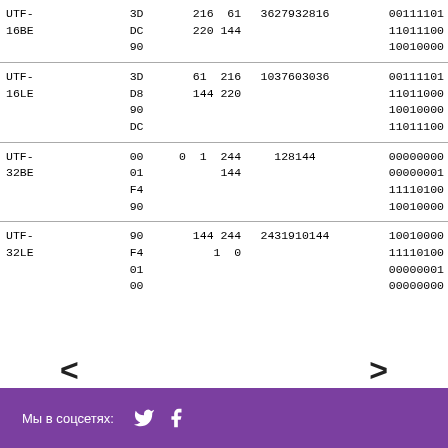| Encoding | Hex | Decimal | Binary |
| --- | --- | --- | --- |
| UTF-16BE | 3D
DC
90 | 216  61
220 144 | 3627932816 | 00111101
11011100
10010000 |
| UTF-16LE | 3D
D8
90
DC | 61  216
144 220 | 1037603036 | 00111101
11011000
10010000
11011100 |
| UTF-32BE | 00
01
F4
90 | 0  1  244
       144 | 128144 | 00000000
00000001
11110100
10010000 |
| UTF-32LE | 90
F4
01
00 | 144 244
      1  0 | 2431910144 | 10010000
11110100
00000001
00000000 |
< (previous) > (next)
Мы в соцсетях: